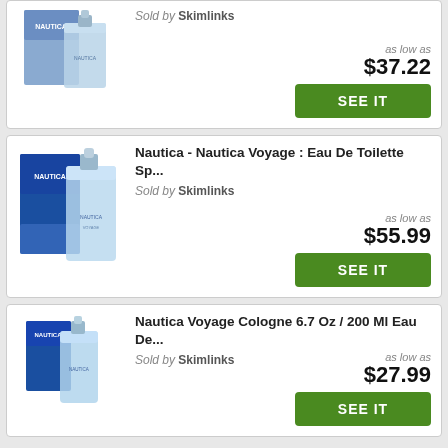[Figure (photo): Nautica Voyage cologne bottle and box, partial top card]
Sold by Skimlinks
as low as $37.22
SEE IT
Nautica - Nautica Voyage : Eau De Toilette Sp...
Sold by Skimlinks
[Figure (photo): Nautica Voyage Eau De Toilette bottle and blue box]
as low as $55.99
SEE IT
Nautica Voyage Cologne 6.7 Oz / 200 Ml Eau De...
Sold by Skimlinks
[Figure (photo): Nautica Voyage cologne 6.7oz bottle and box]
as low as $27.99
SEE IT